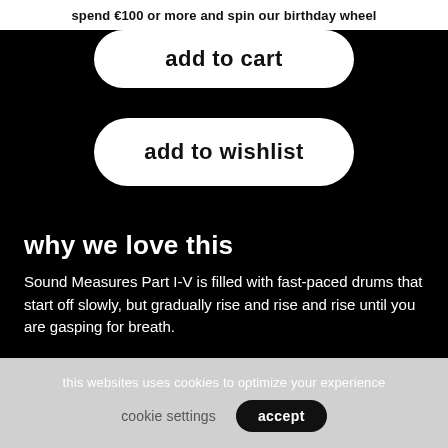spend €100 or more and spin our birthday wheel
add to cart
add to wishlist
why we love this
Sound Measures Part I-V is filled with fast-paced drums that start off slowly, but gradually rise and rise and rise until you are gasping for breath.
about the record
this websites uses cookies to optimize your experience
cookie settings
accept